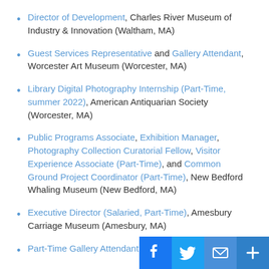Director of Development, Charles River Museum of Industry & Innovation (Waltham, MA)
Guest Services Representative and Gallery Attendant, Worcester Art Museum (Worcester, MA)
Library Digital Photography Internship (Part-Time, summer 2022), American Antiquarian Society (Worcester, MA)
Public Programs Associate, Exhibition Manager, Photography Collection Curatorial Fellow, Visitor Experience Associate (Part-Time), and Common Ground Project Coordinator (Part-Time), New Bedford Whaling Museum (New Bedford, MA)
Executive Director (Salaried, Part-Time), Amesbury Carriage Museum (Amesbury, MA)
Part-Time Gallery Attendant, Carrie Chen Gallery